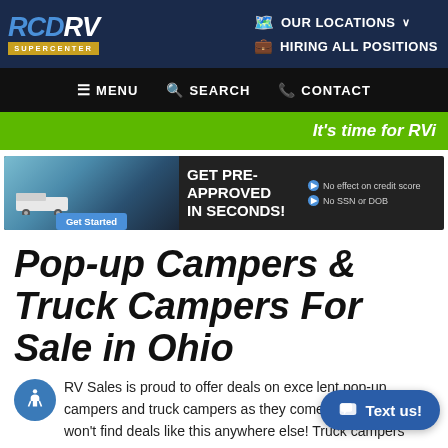RCD RV SUPERCENTER — OUR LOCATIONS — HIRING ALL POSITIONS
MENU  SEARCH  CONTACT
It's time for RVi
[Figure (infographic): GET PRE-APPROVED IN SECONDS! No effect on credit score. No SSN or DOB. Get Started button with RV image background.]
Pop-up Campers & Truck Campers For Sale in Ohio
RV Sales is proud to offer deals on excellent pop-up campers and truck campers as they come onto the lot, and you won't find deals like this anywhere else! Truck campers